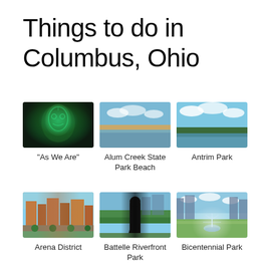Things to do in Columbus, Ohio
[Figure (photo): Green illuminated face sculpture – 'As We Are']
"As We Are"
[Figure (photo): Sandy beach and water at Alum Creek State Park Beach]
Alum Creek State Park Beach
[Figure (photo): Calm lake reflecting trees and clouds at Antrim Park]
Antrim Park
[Figure (photo): Aerial view of Arena District in Columbus]
Arena District
[Figure (photo): Person in park near Battelle Riverfront Park]
Battelle Riverfront Park
[Figure (photo): Fountain and skyline at Bicentennial Park]
Bicentennial Park